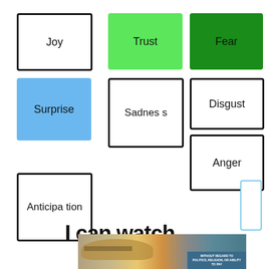[Figure (infographic): Emotion word boxes: Joy (white border), Trust (light green filled), Fear (dark green filled), Surprise (light blue filled), Sadness (white border), Disgust (white border), Anger (white border), Anticipation (white border), small blue outline rectangle, partial text 'I can watch', cargo airplane photo with overlay text 'WITHOUT REGARD TO POLITICS, RELIGION, OR ABILITY TO PAY']